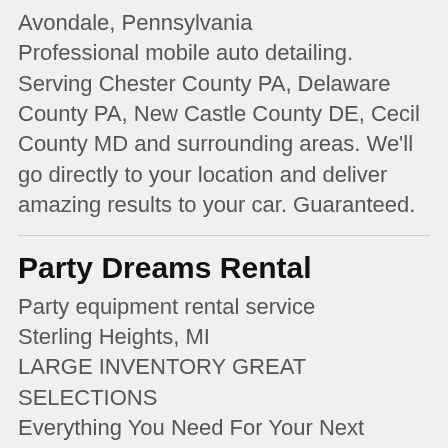Avondale, Pennsylvania
Professional mobile auto detailing. Serving Chester County PA, Delaware County PA, New Castle County DE, Cecil County MD and surrounding areas. We'll go directly to your location and deliver amazing results to your car. Guaranteed.
Party Dreams Rental
Party equipment rental service
Sterling Heights, MI
LARGE INVENTORY GREAT SELECTIONS
Everything You Need For Your Next Event!